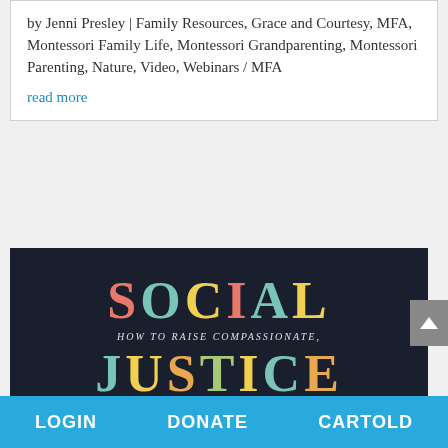by Jenni Presley | Family Resources, Grace and Courtesy, MFA, Montessori Family Life, Montessori Grandparenting, Montessori Parenting, Nature, Video, Webinars / MFA
read more
[Figure (photo): Book cover showing 'SOCIAL JUSTICE' in large colorful letters (pink, teal, yellow, orange, green) on a dark navy background, with subtitle text 'HOW TO RAISE COMPASSIONATE,' between the two words]
LOGIN   DONATE   CARTOLD